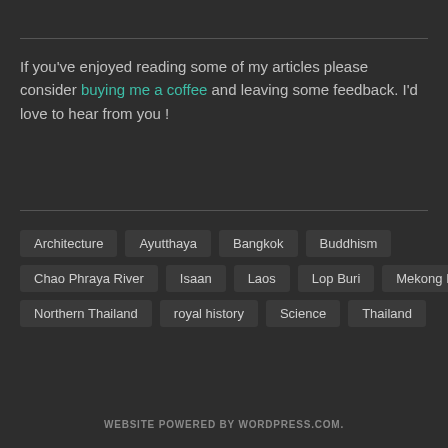If you've enjoyed reading some of my articles please consider buying me a coffee and leaving some feedback. I'd love to hear from you !
Architecture
Ayutthaya
Bangkok
Buddhism
Chao Phraya River
Isaan
Laos
Lop Buri
Mekong River
Northern Thailand
royal history
Science
Thailand
WEBSITE POWERED BY WORDPRESS.COM.